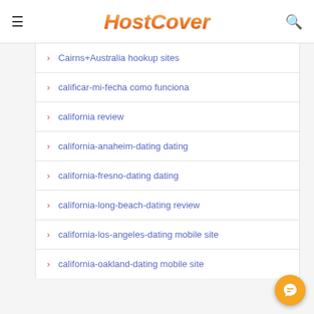HostCover
Cairns+Australia hookup sites
calificar-mi-fecha como funciona
california review
california-anaheim-dating dating
california-fresno-dating dating
california-long-beach-dating review
california-los-angeles-dating mobile site
california-oakland-dating mobile site